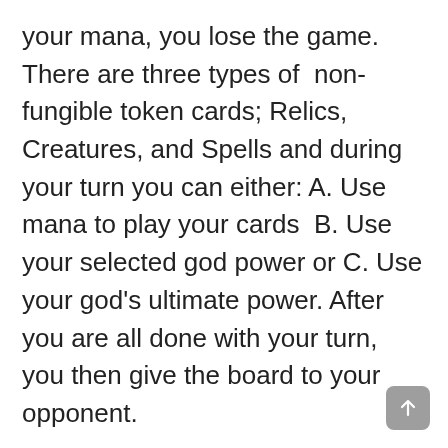your mana, you lose the game. There are three types of non-fungible token cards; Relics, Creatures, and Spells and during your turn you can either: A. Use mana to play your cards  B. Use your selected god power or C. Use your god's ultimate power. After you are all done with your turn, you then give the board to your opponent.